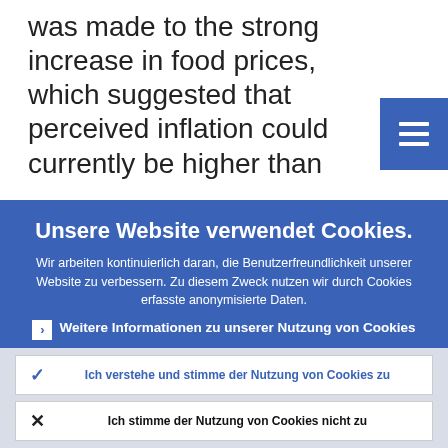was made to the strong increase in food prices, which suggested that perceived inflation could currently be higher than
Unsere Website verwendet Cookies.
Wir arbeiten kontinuierlich daran, die Benutzerfreundlichkeit unserer Website zu verbessern. Zu diesem Zweck nutzen wir durch Cookies erfasste anonymisierte Daten.
Weitere Informationen zu unserer Nutzung von Cookies
Ich verstehe und stimme der Nutzung von Cookies zu
Ich stimme der Nutzung von Cookies nicht zu